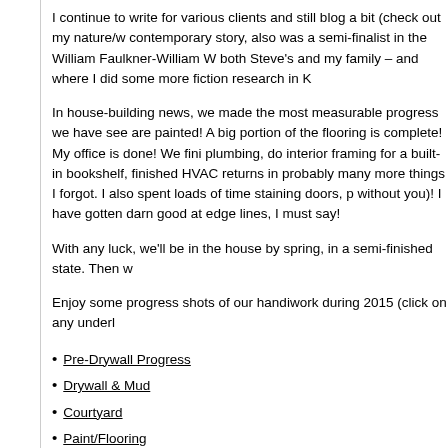I continue to write for various clients and still blog a bit (check out my nature/w contemporary story, also was a semi-finalist in the William Faulkner-William W both Steve's and my family – and where I did some more fiction research in K
In house-building news, we made the most measurable progress we have see are painted! A big portion of the flooring is complete! My office is done! We fini plumbing, do interior framing for a built-in bookshelf, finished HVAC returns in probably many more things I forgot. I also spent loads of time staining doors, p without you)! I have gotten darn good at edge lines, I must say!
With any luck, we'll be in the house by spring, in a semi-finished state. Then w
Enjoy some progress shots of our handiwork during 2015 (click on any underl
Pre-Drywall Progress
Drywall & Mud
Courtyard
Paint/Flooring
Also check out the wildlife and landscape photos I took this year (I attended a
Spring landscapes
Hummingbird babies, hawks, butterflies, rattlers & more
Wildfl...